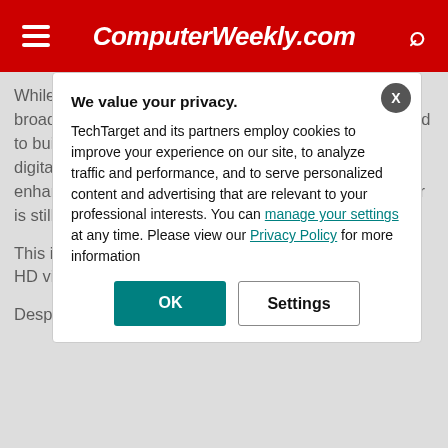ComputerWeekly.com
While not as fast as the gold standard of full-fibre broadband – which Openreach has previously committed to building as its "network of choice" – Gfast, which is a digital subscriber line (DSL) standard designed to enhance services on loops of under 500m where copper is still capable of p...
This is above the broadband and e current broadband or HD video stre room to enable s such as 8K TV a...
Despite its conve particularly attra...
We value your privacy. TechTarget and its partners employ cookies to improve your experience on our site, to analyze traffic and performance, and to serve personalized content and advertising that are relevant to your professional interests. You can manage your settings at any time. Please view our Privacy Policy for more information